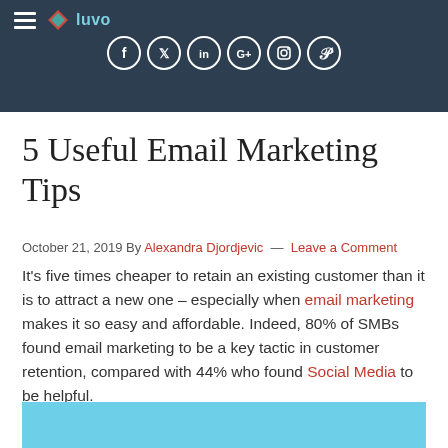luvo — navigation with social icons: Facebook, Twitter, LinkedIn, Google+, Instagram, Pinterest
5 Useful Email Marketing Tips
October 21, 2019 By Alexandra Djordjevic — Leave a Comment
It's five times cheaper to retain an existing customer than it is to attract a new one – especially when email marketing makes it so easy and affordable. Indeed, 80% of SMBs found email marketing to be a key tactic in customer retention, compared with 44% who found Social Media to be helpful.
[Figure (other): Light blue banner/image area at the bottom of the page, partially visible]